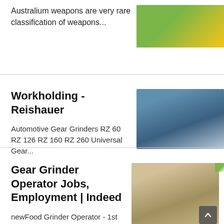Australium weapons are very rare classification of weapons...
[Figure (photo): Green and gold background image, partial view at top right]
Workholding - Reishauer
Automotive Gear Grinders RZ 60 RZ 126 RZ 160 RZ 260 Universal Gear...
[Figure (photo): Blue industrial gear grinding machine outdoors on rocky ground with blue sky]
Gear Grinder Operator Jobs, Employment | Indeed
newFood Grinder Operator - 1st
[Figure (photo): Industrial equipment with gravel/aggregate material outdoors]